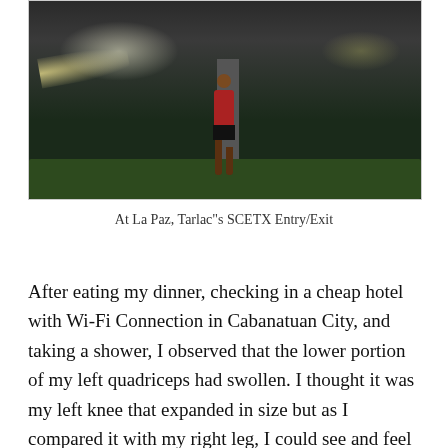[Figure (photo): A runner standing at night near a highway pillar and hedges, with car headlights visible in the background at La Paz, Tarlac's SCETX Entry/Exit]
At La Paz, Tarlac"s SCETX Entry/Exit
After eating my dinner, checking in a cheap hotel with Wi-Fi Connection in Cabanatuan City, and taking a shower, I observed that the lower portion of my left quadriceps had swollen. I thought it was my left knee that expanded in size but as I compared it with my right leg, I could see and feel that it was my lower left portion of my quads (it connects to the knee) that have been bloated and had some pain when it is pressed by the thumb. It was my first time to experience this and I